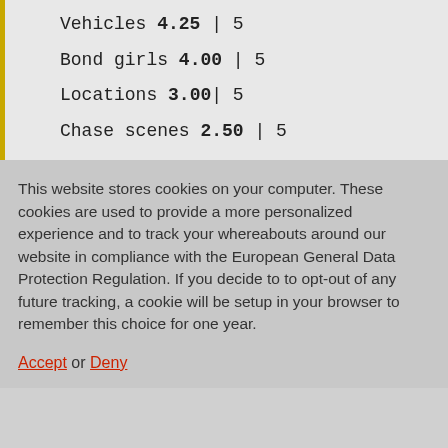Vehicles 4.25 | 5
Bond girls 4.00 | 5
Locations 3.00 | 5
Chase scenes 2.50 | 5
This website stores cookies on your computer. These cookies are used to provide a more personalized experience and to track your whereabouts around our website in compliance with the European General Data Protection Regulation. If you decide to to opt-out of any future tracking, a cookie will be setup in your browser to remember this choice for one year.
Accept or Deny